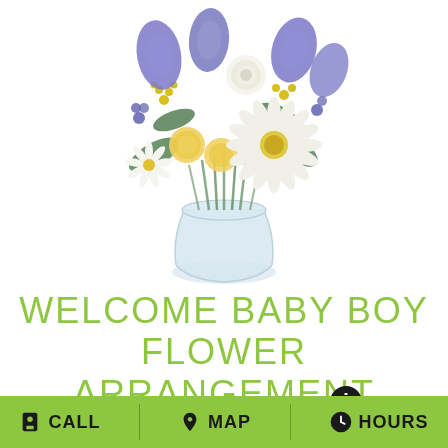[Figure (photo): A flower arrangement in a clear glass vase featuring white gerbera daisies, yellow carnations, purple/blue iris flowers, white ranunculus, and yellow solidago against a white background.]
WELCOME BABY BOY FLOWER ARRANGEMENT
Shown at $68.00
CALL  MAP  HOURS